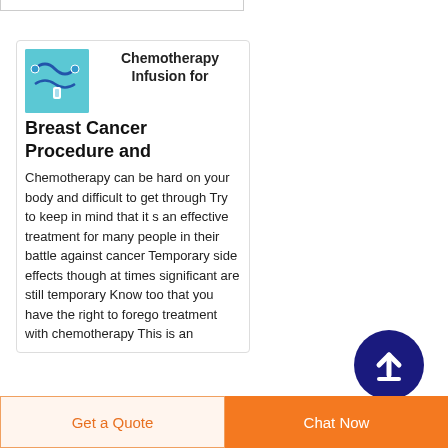Chemotherapy Infusion for Breast Cancer Procedure and
[Figure (photo): Small thumbnail image of chemotherapy infusion tubing/medical equipment on a light blue background]
Chemotherapy can be hard on your body and difficult to get through Try to keep in mind that it s an effective treatment for many people in their battle against cancer Temporary side effects though at times significant are still temporary Know too that you have the right to forego treatment with chemotherapy This is an
[Figure (illustration): Dark navy blue circle button with white upward arrow icon]
Get a Quote
Chat Now